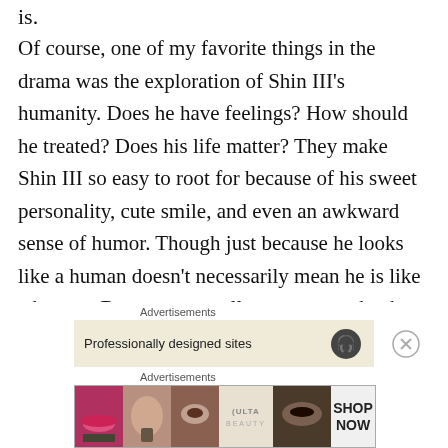is.
Of course, one of my favorite things in the drama was the exploration of Shin III's humanity. Does he have feelings? How should he treated? Does his life matter? They make Shin III so easy to root for because of his sweet personality, cute smile, and even an awkward sense of humor. Though just because he looks like a human doesn't necessarily mean he is like a human. But we eventually start to see that he does experience his own type of robot “feelings” such as when he exhibits a sort of sadness over his mom focusing on the human Shin.
Advertisements
[Figure (screenshot): Advertisement banner with text 'Professionally designed sites' and a circular logo icon on beige background, with close button]
Advertisements
[Figure (screenshot): ULTA beauty advertisement banner showing multiple close-up images of women's lips and eyes, with SHOP NOW button]